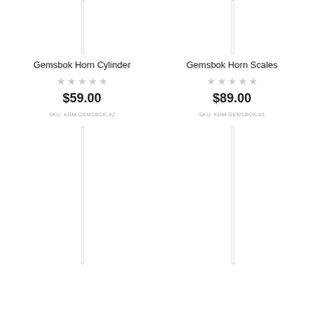[Figure (photo): Product image placeholder for Gemsbok Horn Cylinder (top left)]
Gemsbok Horn Cylinder
☆☆☆☆☆
$59.00
SKU: KHM-GEMSBOK-#2
[Figure (photo): Product image placeholder for Gemsbok Horn Scales (top right)]
Gemsbok Horn Scales
☆☆☆☆☆
$89.00
SKU: KHM-GEMSBOK-#1
[Figure (photo): Product image placeholder (bottom left)]
[Figure (photo): Product image placeholder (bottom right)]